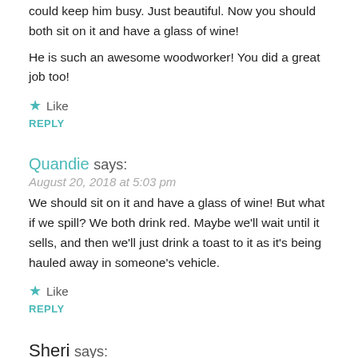could keep him busy. Just beautiful. Now you should both sit on it and have a glass of wine!
He is such an awesome woodworker! You did a great job too!
Like
REPLY
Quandie says:
August 20, 2018 at 5:03 pm
We should sit on it and have a glass of wine! But what if we spill? We both drink red. Maybe we'll wait until it sells, and then we'll just drink a toast to it as it's being hauled away in someone's vehicle.
Like
REPLY
Sheri says:
August 20, 2018 at 4:39 pm
What a beauty! You and Ken are such a fabulous team but if he ever